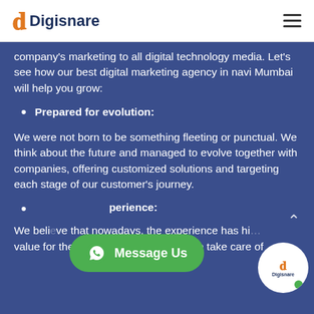Digisnare
company's marketing to all digital technology media. Let's see how our best digital marketing agency in navi Mumbai will help you grow:
Prepared for evolution:
We were not born to be something fleeting or punctual. We think about the future and managed to evolve together with companies, offering customized solutions and targeting each stage of our customer's journey.
...perience:
We believe that nowadays, the experience has hi... value for the user and consumer, so we take care of